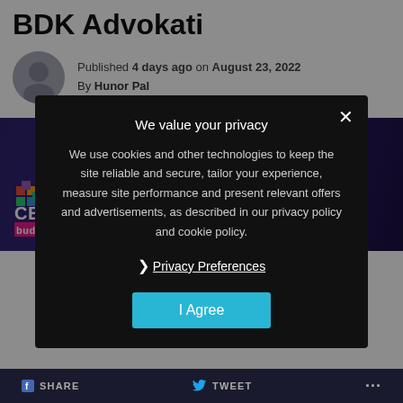BDK Advokati
Published 4 days ago on August 23, 2022
By Hunor Pal
[Figure (photo): CEEGC Budapest conference banner with person photo in diamond frame, BDK Advokati label on right, decorative elements on dark purple background]
We value your privacy
We use cookies and other technologies to keep the site reliable and secure, tailor your experience, measure site performance and present relevant offers and advertisements, as described in our privacy policy and cookie policy.
› Privacy Preferences
I Agree